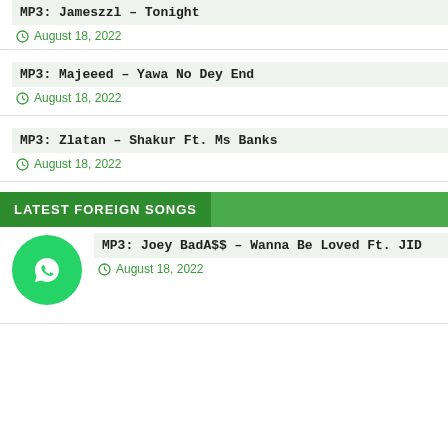MP3: Jameszzl – Tonight
August 18, 2022
MP3: Majeeed – Yawa No Dey End
August 18, 2022
MP3: Zlatan – Shakur Ft. Ms Banks
August 18, 2022
LATEST FOREIGN SONGS
MP3: Joey BadA$$ – Wanna Be Loved Ft. JID
August 18, 2022